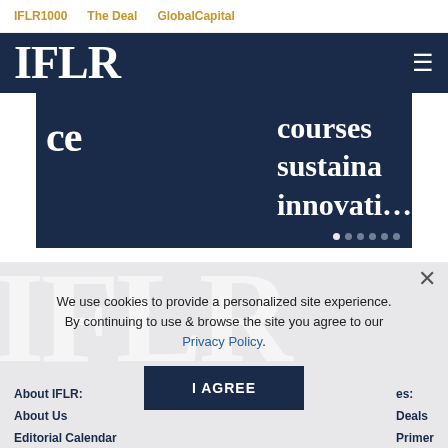IFLR1000   The Deal   GlobalCapital
IFLR
[Figure (screenshot): IFLR website hero banner showing partial text: 'ce', 'courses', 'sustaina', 'innovati' on dark navy background with dot navigation indicators]
We use cookies to provide a personalized site experience. By continuing to use & browse the site you agree to our Privacy Policy.
I AGREE
About IFLR:
About Us
Editorial Calendar
Deals
Primer